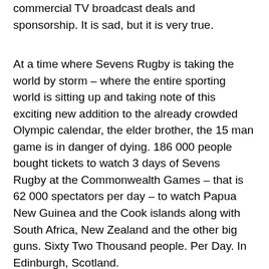commercial TV broadcast deals and sponsorship. It is sad, but it is very true.
At a time where Sevens Rugby is taking the world by storm – where the entire sporting world is sitting up and taking note of this exciting new addition to the already crowded Olympic calendar, the elder brother, the 15 man game is in danger of dying. 186 000 people bought tickets to watch 3 days of Sevens Rugby at the Commonwealth Games – that is 62 000 spectators per day – to watch Papua New Guinea and the Cook islands along with South Africa, New Zealand and the other big guns. Sixty Two Thousand people. Per Day. In Edinburgh, Scotland.